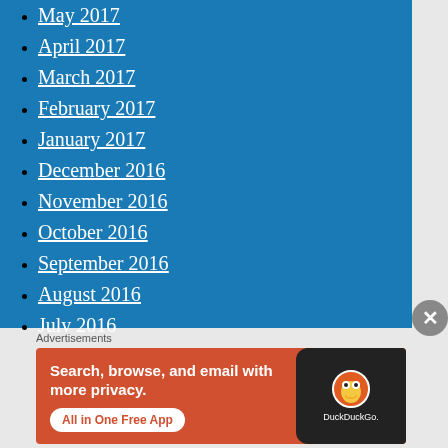May 2017
April 2017
March 2017
February 2017
January 2017
December 2016
November 2016
October 2016
September 2016
August 2016
July 2016
June 2016
Advertisements
[Figure (screenshot): DuckDuckGo advertisement banner: 'Search, browse, and email with more privacy. All in One Free App' with DuckDuckGo logo on a phone graphic against orange background.]